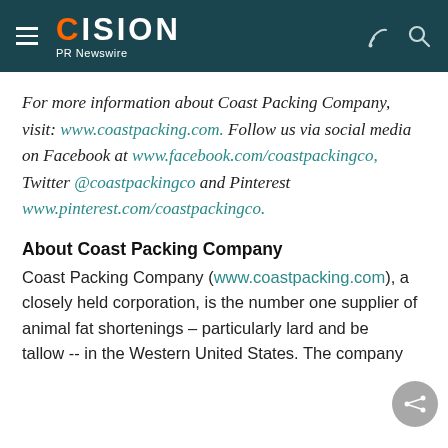CISION PR Newswire
For more information about Coast Packing Company, visit: www.coastpacking.com. Follow us via social media on Facebook at www.facebook.com/coastpackingco, Twitter @coastpackingco and Pinterest www.pinterest.com/coastpackingco.
About Coast Packing Company
Coast Packing Company (www.coastpacking.com), a closely held corporation, is the number one supplier of animal fat shortenings – particularly lard and beef tallow -- in the Western United States. The company